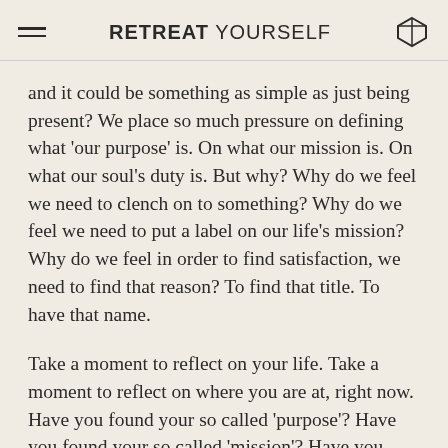RETREAT YOURSELF
and it could be something as simple as just being present? We place so much pressure on defining what 'our purpose' is. On what our mission is. On what our soul's duty is. But why? Why do we feel we need to clench on to something? Why do we feel we need to put a label on our life's mission? Why do we feel in order to find satisfaction, we need to find that reason? To find that title. To have that name.
Take a moment to reflect on your life. Take a moment to reflect on where you are at, right now. Have you found your so called 'purpose'? Have you found your so called 'mission'? Have you found the reason why you are here on this earth? Well guess what– so many of us have no idea. So many of us think we know what our purpose is. Think we can tick that box. Feel like we are not wasting our time. But why do we have to tick this